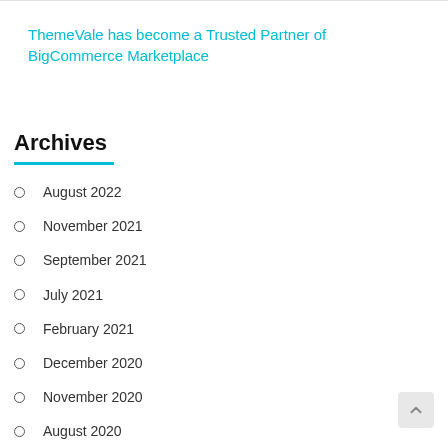ThemeVale has become a Trusted Partner of BigCommerce Marketplace
Archives
August 2022
November 2021
September 2021
July 2021
February 2021
December 2020
November 2020
August 2020